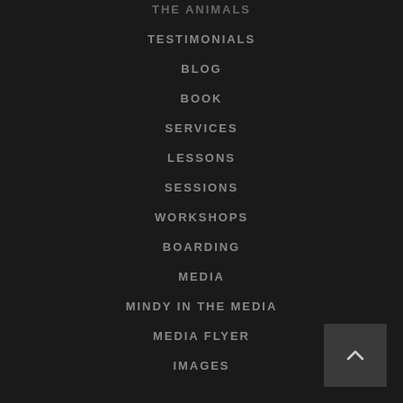THE ANIMALS
TESTIMONIALS
BLOG
BOOK
SERVICES
LESSONS
SESSIONS
WORKSHOPS
BOARDING
MEDIA
MINDY IN THE MEDIA
MEDIA FLYER
IMAGES